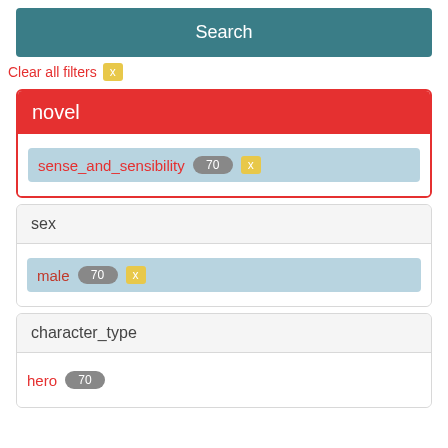Search
Clear all filters  x
novel
sense_and_sensibility  70  x
sex
male  70  x
character_type
hero  70